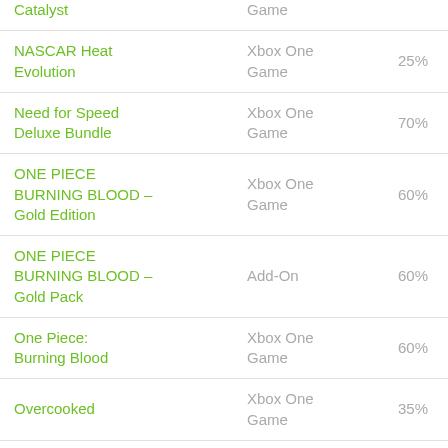| Name | Type | Discount |
| --- | --- | --- |
| Catalyst | Game |  |
| NASCAR Heat Evolution | Xbox One Game | 25% |
| Need for Speed Deluxe Bundle | Xbox One Game | 70% |
| ONE PIECE BURNING BLOOD – Gold Edition | Xbox One Game | 60% |
| ONE PIECE BURNING BLOOD – Gold Pack | Add-On | 60% |
| One Piece: Burning Blood | Xbox One Game | 60% |
| Overcooked | Xbox One Game | 35% |